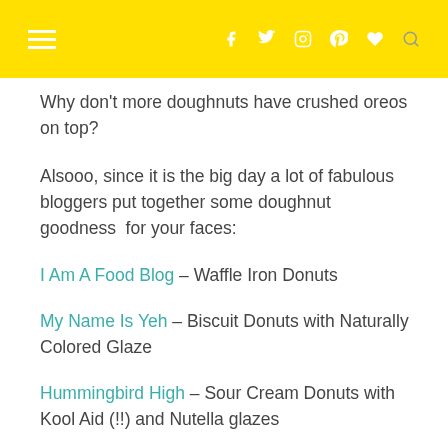navigation bar with hamburger menu and social icons
Why don't more doughnuts have crushed oreos on top?
Alsooo, since it is the big day a lot of fabulous bloggers put together some doughnut goodness  for your faces:
I Am A Food Blog – Waffle Iron Donuts
My Name Is Yeh – Biscuit Donuts with Naturally Colored Glaze
Hummingbird High – Sour Cream Donuts with Kool Aid (!!) and Nutella glazes
The Faux Martha – Mix and Match Doughnuts